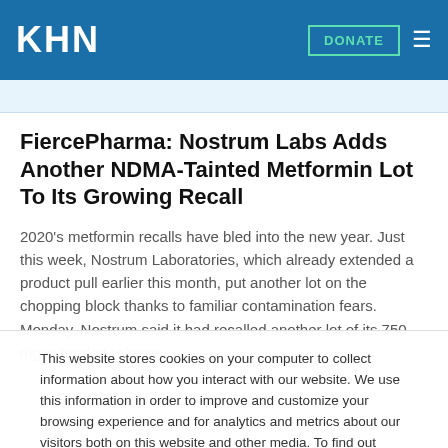KHN | DONATE
FiercePharma: Nostrum Labs Adds Another NDMA-Tainted Metformin Lot To Its Growing Recall
2020's metformin recalls have bled into the new year. Just this week, Nostrum Laboratories, which already extended a product pull earlier this month, put another lot on the chopping block thanks to familiar contamination fears. Monday, Nostrum said it had recalled another lot of its 750-mg extended-release
This website stores cookies on your computer to collect information about how you interact with our website. We use this information in order to improve and customize your browsing experience and for analytics and metrics about our visitors both on this website and other media. To find out more about the cookies we use, see our Privacy Policy.
Accept